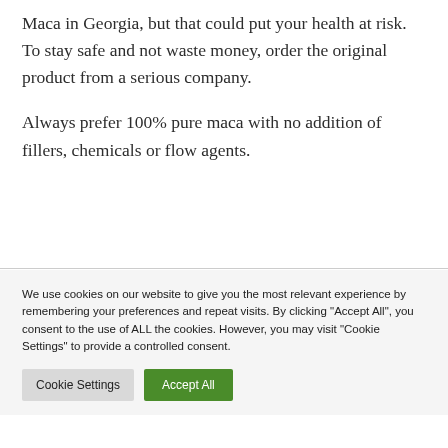Maca in Georgia, but that could put your health at risk. To stay safe and not waste money, order the original product from a serious company.
Always prefer 100% pure maca with no addition of fillers, chemicals or flow agents.
We use cookies on our website to give you the most relevant experience by remembering your preferences and repeat visits. By clicking "Accept All", you consent to the use of ALL the cookies. However, you may visit "Cookie Settings" to provide a controlled consent.